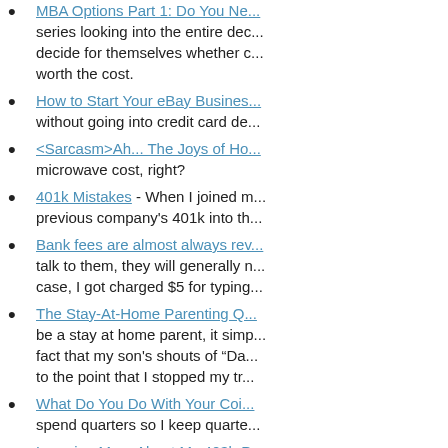MBA Options Part 1: Do You Ne... series looking into the entire dec... decide for themselves whether c... worth the cost.
How to Start Your eBay Busines... without going into credit card de...
<Sarcasm>Ah... The Joys of Ho... microwave cost, right?
401k Mistakes - When I joined m... previous company's 401k into th...
Bank fees are almost always rev... talk to them, they will generally n... case, I got charged $5 for typing...
The Stay-At-Home Parenting Q... be a stay at home parent, it simp... fact that my son's shouts of "Da... to the point that I stopped my tr...
What Do You Do With Your Coi... spend quarters so I keep quarte...
Learning More About My 403b P...